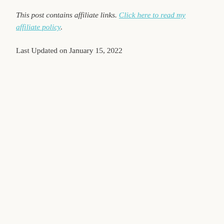This post contains affiliate links. Click here to read my affiliate policy.
Last Updated on January 15, 2022